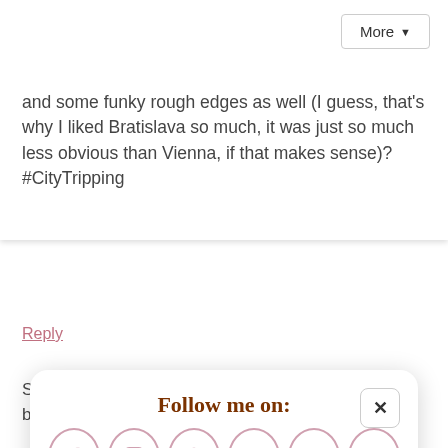and some funky rough edges as well (I guess, that's why I liked Bratislava so much, it was just so much less obvious than Vienna, if that makes sense)? #CityTripping
Reply
California Globetrotter says:
Follow me on:
[Figure (infographic): Six social media icon circles: Facebook, Instagram, Pinterest, Twitter, Bloglovin, RSS feed — all in pink/rose color on white background]
Or sign up to my newsletter
Subscribe  Sign Up!
Somehow I never get tired of the pastel coloured buildings ⁇ #citytripping